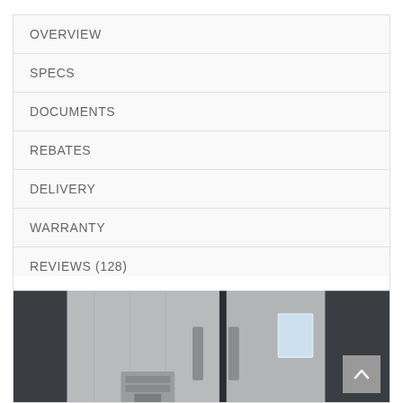OVERVIEW
SPECS
DOCUMENTS
REBATES
DELIVERY
WARRANTY
REVIEWS (128)
[Figure (photo): Close-up photo of a stainless steel refrigerator with French doors, showing door handles and partial view of the appliance]